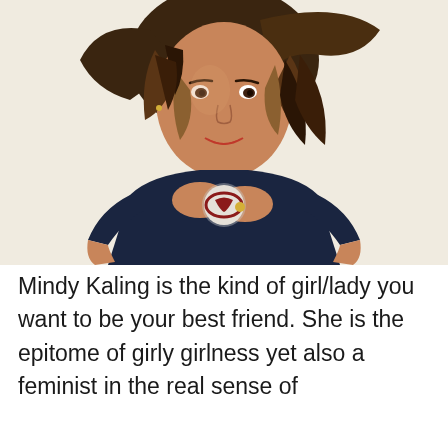[Figure (photo): Photo of Mindy Kaling smiling, wearing a navy blue Red Sox t-shirt, with long wavy brown hair, hands clasped at chest, against a light beige/cream background.]
Mindy Kaling is the kind of girl/lady you want to be your best friend. She is the epitome of girly girlness yet also a feminist in the real sense of